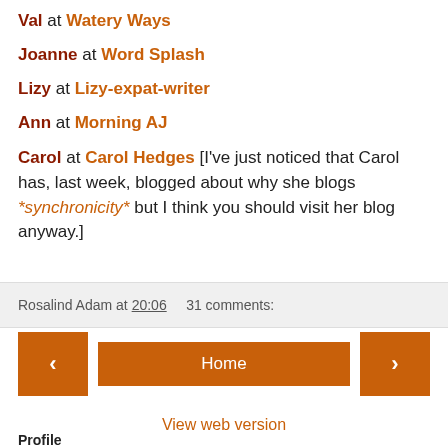Val at Watery Ways
Joanne at Word Splash
Lizy at Lizy-expat-writer
Ann at Morning AJ
Carol at Carol Hedges [I've just noticed that Carol has, last week, blogged about why she blogs *synchronicity* but I think you should visit her blog anyway.]
Rosalind Adam at 20:06   31 comments:
Home | View web version | Profile